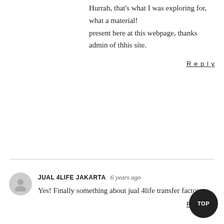Hurrah, that's what I was exploring for, what a material! present here at this webpage, thanks admin of thhis site.
Reply
JUAL 4LIFE JAKARTA  6 years ago
Yes! Finally something about jual 4life transfer factor.
Reply
LINDA  6 years ago
I purchased your Perfect stitch viewer and because there is no serial number I can't use it. So far I ha pretty much been called a liar about the purcha because I can't produce a receipt.